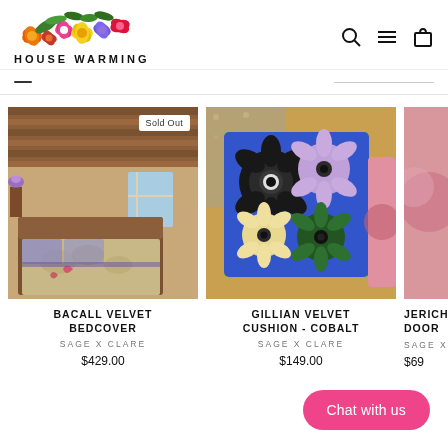[Figure (logo): House Warming store logo with colorful flowers above text reading HOUSE WARMING]
[Figure (screenshot): Navigation icons: search (magnifying glass), hamburger menu, shopping bag]
[Figure (photo): Bedroom with wooden ceiling, quilted bedcover with floral patterns, purple accents. Product: Bacall Velvet Bedcover. Has Sold Out badge.]
BACALL VELVET BEDCOVER
SAGE X CLARE
$429.00
[Figure (photo): Blue velvet cushion with large colorful flower appliques on floral fabric background. Product: Gillian Velvet Cushion - Cobalt.]
GILLIAN VELVET CUSHION - COBALT
SAGE X CLARE
$149.00
[Figure (photo): Partial view of a pink product (Jericho Door) cut off at right edge.]
JERICHO DOOR
SAGE X
$69
Chat with us